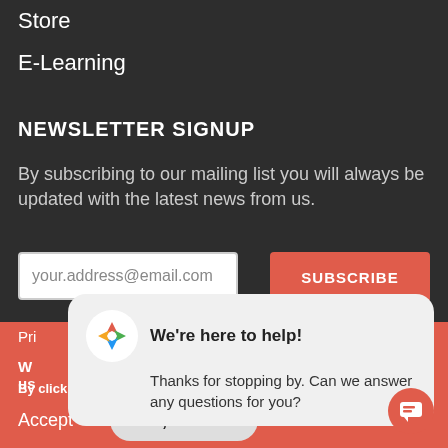Store
E-Learning
NEWSLETTER SIGNUP
By subscribing to our mailing list you will always be updated with the latest news from us.
your.address@email.com
SUBSCRIBE
Pri
W us
By clicking the Accept button, you agree to us doing so. Policy
Accept
No, thanks
[Figure (illustration): Chat widget popup with a colorful logo icon showing a star/arrow symbol. Header text: We're here to help! Body text: Thanks for stopping by. Can we answer any questions for you?]